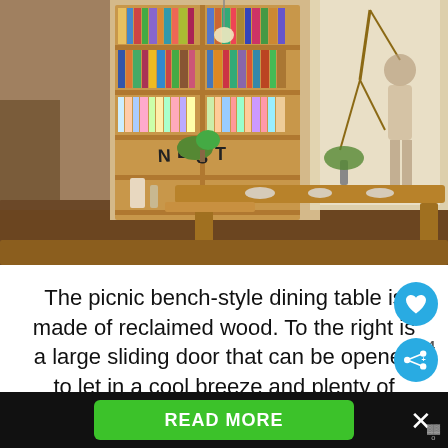[Figure (photo): Interior photo of a Japanese-style dining room with a low reclaimed wood picnic bench-style dining table, bookshelves filled with books covering the back wall, plants, and a person near a large sliding glass door with natural light coming in from outside.]
The picnic bench-style dining table is made of reclaimed wood. To the right is a large sliding door that can be opened to let in a cool breeze and plenty of natural light.